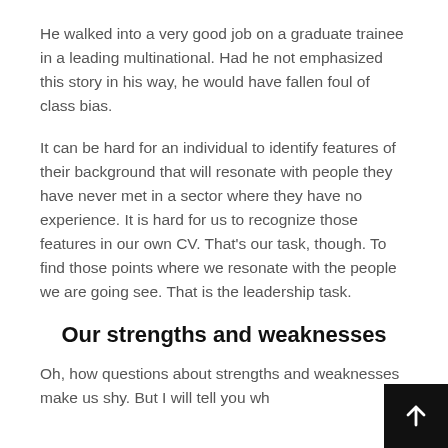He walked into a very good job on a graduate trainee in a leading multinational.  Had he not emphasized this story in his way, he would have fallen foul of class bias.
It can be hard for an individual to identify features of their background that will resonate with people they have never met in a sector where they have no experience.  It is hard for us to recognize those features in our own CV.  That’s our task, though.  To find those points where we resonate with the people we are going see.  That is the leadership task.
Our strengths and weaknesses
Oh, how questions about strengths and weaknesses make us shy.  But I will tell you wh